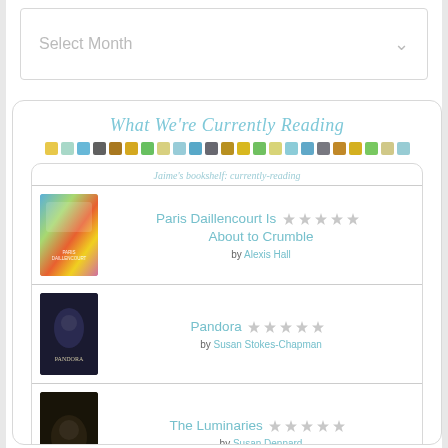Select Month
What We're Currently Reading
[Figure (infographic): A row of colored squares in yellow, teal, blue, grey, dark yellow, gold, green, light yellow, light blue, blue, dark grey, dark yellow, yellow, green, light yellow, light teal, blue, grey, brown/orange, gold, green, tan, light teal]
Jaime's bookshelf: currently-reading
Paris Daillencourt Is About to Crumble
by Alexis Hall
Pandora
by Susan Stokes-Chapman
The Luminaries
by Susan Dennard